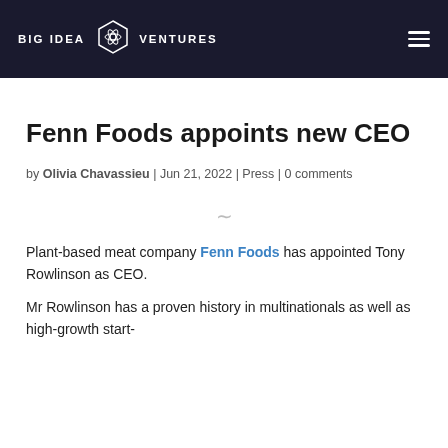BIG IDEA VENTURES
Fenn Foods appoints new CEO
by Olivia Chavassieu | Jun 21, 2022 | Press | 0 comments
Plant-based meat company Fenn Foods has appointed Tony Rowlinson as CEO.
Mr Rowlinson has a proven history in multinationals as well as high-growth start-